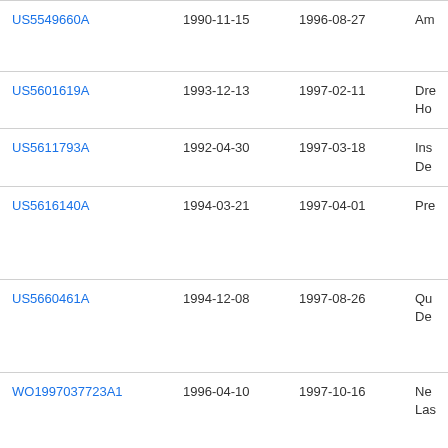| Patent ID | Filing Date | Publication Date | Description |
| --- | --- | --- | --- |
| US5549660A | 1990-11-15 | 1996-08-27 | Am |
| US5601619A | 1993-12-13 | 1997-02-11 | Dre
Ho |
| US5611793A | 1992-04-30 | 1997-03-18 | Ins
De |
| US5616140A | 1994-03-21 | 1997-04-01 | Pre |
| US5660461A | 1994-12-08 | 1997-08-26 | Qu
De |
| WO1997037723A1 | 1996-04-10 | 1997-10-16 | Ne
Las |
| US5683436A | 1994-02-24 | 1997-11-04 | Am |